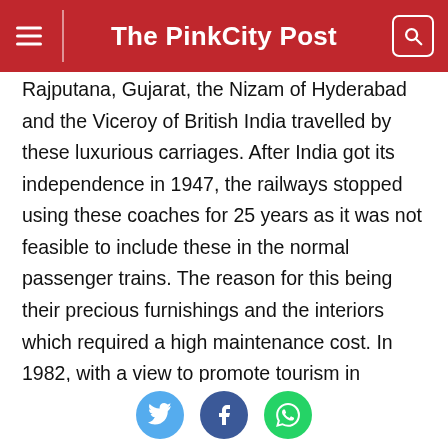The PinkCity Post
Rajputana, Gujarat, the Nizam of Hyderabad and the Viceroy of British India travelled by these luxurious carriages. After India got its independence in 1947, the railways stopped using these coaches for 25 years as it was not feasible to include these in the normal passenger trains. The reason for this being their precious furnishings and the interiors which required a high maintenance cost. In 1982, with a view to promote tourism in Rajasthan and to provide the travellers a royal experience, ROW